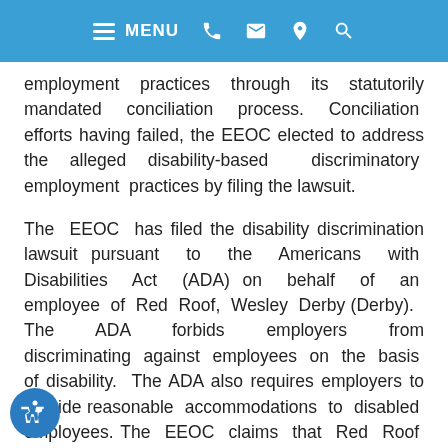MENU
employment practices through its statutorily mandated conciliation process. Conciliation efforts having failed, the EEOC elected to address the alleged disability-based discriminatory employment practices by filing the lawsuit.
The EEOC has filed the disability discrimination lawsuit pursuant to the Americans with Disabilities Act (ADA) on behalf of an employee of Red Roof, Wesley Derby (Derby). The ADA forbids employers from discriminating against employees on the basis of disability. The ADA also requires employers to provide reasonable accommodations to disabled employees. The EEOC claims that Red Roof violated the ADA by denying Derby promotion because of his disability. In this article, our Citrus County, Florida employment discrimination lawyers explain the EEOC's allegations against Red Roof.